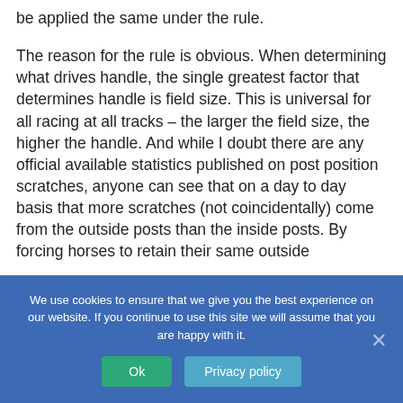be applied the same under the rule.
The reason for the rule is obvious. When determining what drives handle, the single greatest factor that determines handle is field size. This is universal for all racing at all tracks – the larger the field size, the higher the handle. And while I doubt there are any official available statistics published on post position scratches, anyone can see that on a day to day basis that more scratches (not coincidentally) come from the outside posts than the inside posts. By forcing horses to retain their same outside
We use cookies to ensure that we give you the best experience on our website. If you continue to use this site we will assume that you are happy with it.